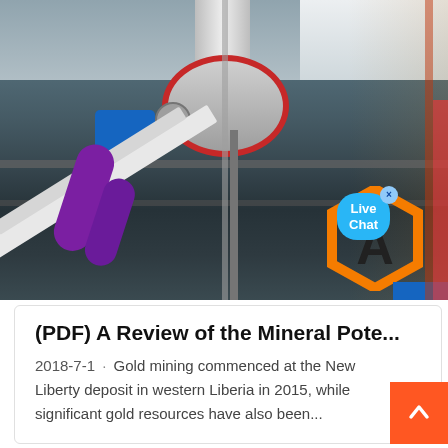[Figure (photo): Photograph of industrial mining/mineral processing equipment — a large cone crusher or mill with cylindrical silo structure above it, metal framework, diagonal conveyor belts, and purple pipe/conveyor elements. An orange hexagon logo with letter 'A' is visible in the lower right. A 'Live Chat' bubble overlay is visible in the upper right area of the image.]
(PDF) A Review of the Mineral Pote...
2018-7-1 · Gold mining commenced at the New Liberty deposit in western Liberia in 2015, while significant gold resources have also been...